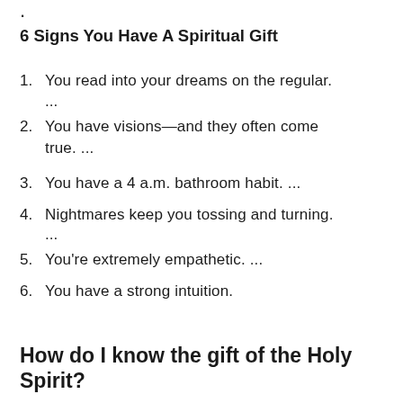6 Signs You Have A Spiritual Gift
1. You read into your dreams on the regular. ...
2. You have visions—and they often come true. ...
3. You have a 4 a.m. bathroom habit. ...
4. Nightmares keep you tossing and turning. ...
5. You're extremely empathetic. ...
6. You have a strong intuition.
How do I know the gift of the Holy Spirit?